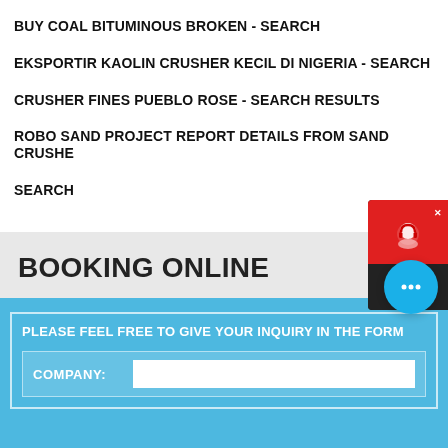BUY COAL BITUMINOUS BROKEN - SEARCH
EKSPORTIR KAOLIN CRUSHER KECIL DI NIGERIA - SEARCH
CRUSHER FINES PUEBLO ROSE - SEARCH RESULTS
ROBO SAND PROJECT REPORT DETAILS FROM SAND CRUSHER - SEARCH
[Figure (screenshot): Chat Now widget with red top section showing a headset icon and dark bottom section with Chat Now text]
BOOKING ONLINE
[Figure (screenshot): Blue online booking form with inquiry prompt and Company field with input box]
[Figure (screenshot): Blue floating chat bubble with ellipsis icon]